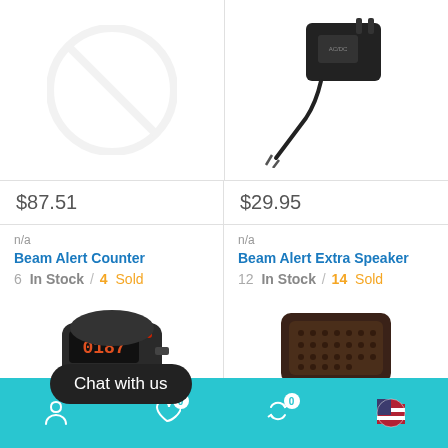[Figure (photo): No image placeholder — grey circle with diagonal slash]
[Figure (photo): Black AC power adapter with wire leads on white background]
$87.51
$29.95
n/a
Beam Alert Counter
6 In Stock / 4 Sold
[Figure (photo): Dark beam alert counter device with LED readout showing 0187]
n/a
Beam Alert Extra Speaker
12 In Stock / 14 Sold
[Figure (photo): Dark brown beam alert extra speaker device]
Chat with us
Navigation bar with person icon, heart icon (0), refresh icon (0), flag icon